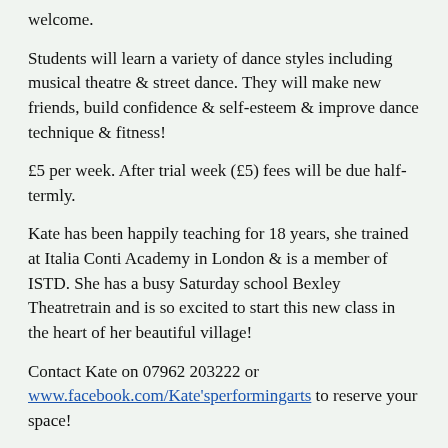welcome.
Students will learn a variety of dance styles including musical theatre & street dance. They will make new friends, build confidence & self-esteem & improve dance technique & fitness!
£5 per week. After trial week (£5) fees will be due half-termly.
Kate has been happily teaching for 18 years, she trained at Italia Conti Academy in London & is a member of ISTD. She has a busy Saturday school Bexley Theatretrain and is so excited to start this new class in the heart of her beautiful village!
Contact Kate on 07962 203222 or www.facebook.com/Kate'sperformingarts to reserve your space!
Local History Society – Jubilee Hall Monday 8.00pm